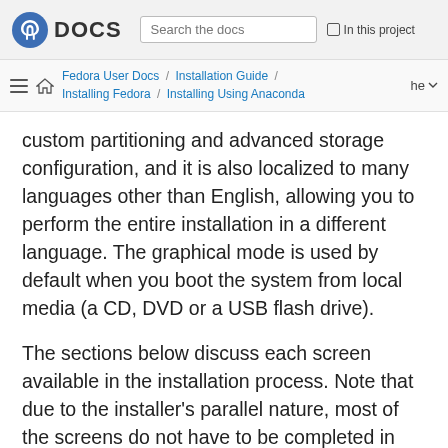Fedora DOCS | Search the docs | In this project
Fedora User Docs / Installation Guide / Installing Fedora / Installing Using Anaconda | he
custom partitioning and advanced storage configuration, and it is also localized to many languages other than English, allowing you to perform the entire installation in a different language. The graphical mode is used by default when you boot the system from local media (a CD, DVD or a USB flash drive).
The sections below discuss each screen available in the installation process. Note that due to the installer’s parallel nature, most of the screens do not have to be completed in the order in which they